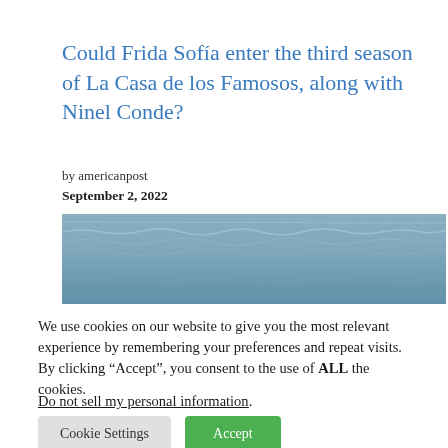Could Frida Sofía enter the third season of La Casa de los Famosos, along with Ninel Conde?
by americanpost
September 2, 2022
[Figure (photo): Ocean/water surface photograph, muted blue-grey tones]
We use cookies on our website to give you the most relevant experience by remembering your preferences and repeat visits. By clicking “Accept”, you consent to the use of ALL the cookies.
Do not sell my personal information.